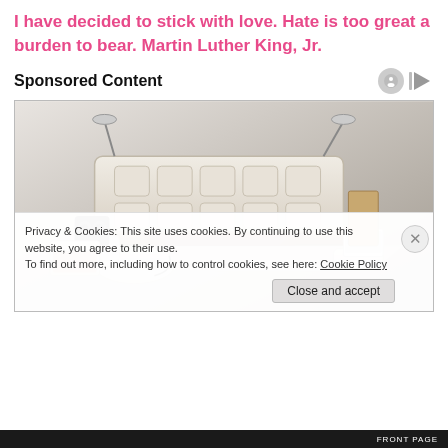I have decided to stick with love. Hate is too great a burden to bear. Martin Luther King, Jr.
Sponsored Content
[Figure (photo): A luxury smart bed with massage speakers, reclining panels, storage drawers, tablet stand, and reading lamps displayed against a light gray background.]
Privacy & Cookies: This site uses cookies. By continuing to use this website, you agree to their use.
To find out more, including how to control cookies, see here: Cookie Policy
Close and accept